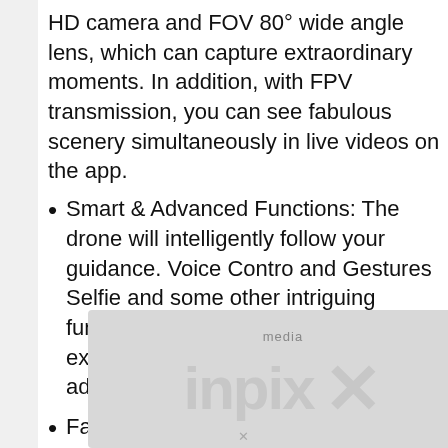HD camera and FOV 80° wide angle lens, which can capture extraordinary moments. In addition, with FPV transmission, you can see fabulous scenery simultaneously in live videos on the app.
Smart & Advanced Functions: The drone will intelligently follow your guidance. Voice Control and Gestures Selfie and some other intriguing functions can provide a terrific experience, you will marvel at how advanced it is.
Fancy & Amazing Stunts: Just Push the control sticks inwards, the drone will perform an impressive 360° flip, and draw a flight course o
[Figure (other): Watermark overlay with 'media' label and large stylized brand logo text with an X, partially obscuring the bottom portion of the document]